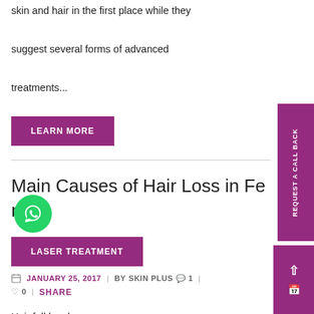skin and hair in the first place while they suggest several forms of advanced treatments...
LEARN MORE
Main Causes of Hair Loss in Female
LASER TREATMENT
JANUARY 25, 2017  |  BY SKIN PLUS  1  |  0  |  SHARE
Hair fall has become a very common